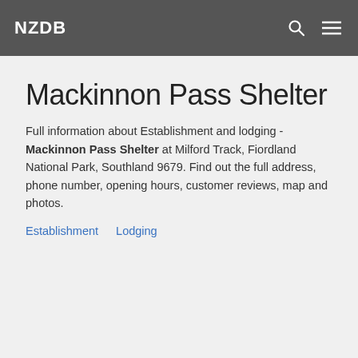NZDB
Mackinnon Pass Shelter
Full information about Establishment and lodging - Mackinnon Pass Shelter at Milford Track, Fiordland National Park, Southland 9679. Find out the full address, phone number, opening hours, customer reviews, map and photos.
Establishment
Lodging